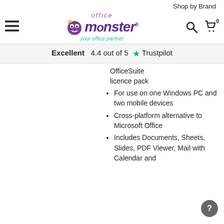Shop by Brand
[Figure (logo): Office Monster logo with purple monster character, text 'office monster your office partner']
Excellent  4.4 out of 5  ★ Trustpilot
OfficeSuite licence pack
For use on one Windows PC and two mobile devices
Cross-platform alternative to Microsoft Office
Includes Documents, Sheets, Slides, PDF Viewer, Mail with Calendar and